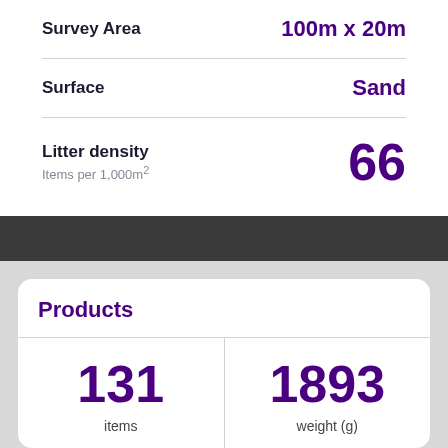Survey Area: 100m x 20m
Surface: Sand
Litter density — Items per 1,000m² — 66
Products
| items | weight (g) |
| --- | --- |
| 131 | 1893 |